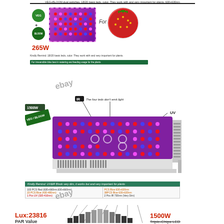VEG+BLOOM dual switches. 18/20 basic leds, color. They work with and very important for plants. 265W
[Figure (photo): LED grow light panel small with pink/purple LEDs shown alongside strawberry fruit photo, VEG and BLOOM switches labeled, 265W power]
[Figure (photo): 1500W LED grow light panel main product photo with IR and UV annotations, VEG/BLOOM labeled, connector lines pointing to IR and UV diodes]
Kindly Remind: UV&IR Blook very dim, it works but and very important for plants. 103 PCS Red (630+660nm,630+660nm), 23 PCS Blue (430-480nm), 1 Pcs UV (320-410nm), PCS Blue 630+630nm, 38PCS Blue 630+630nm, 2 Pcs IR 730nm (Very Dim)
Lux:23816, PAR Value, 1500W, Triple Chips LED